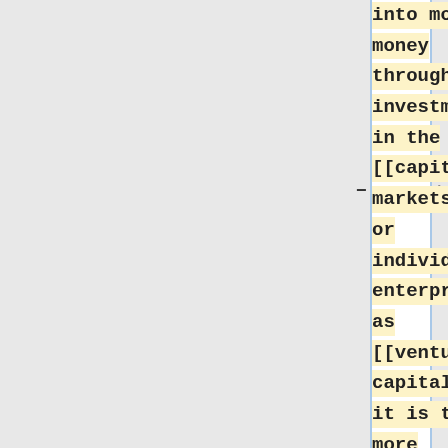into more money through investment in the [[capital markets]] or individual enterprise as [[venture capital]], it is today more strictly defined by bodies regulating banking institutions, modern